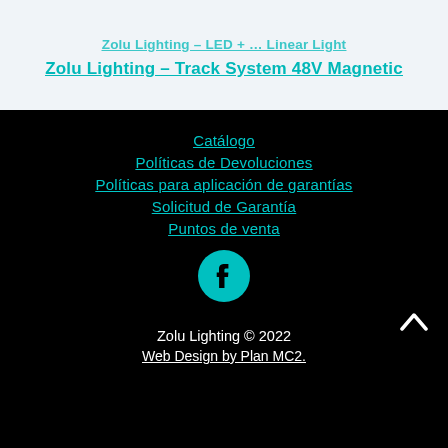Zolu Lighting – LED + … Linear Light (cut off)
Zolu Lighting – Track System 48V Magnetic
Catálogo
Políticas de Devoluciones
Políticas para aplicación de garantías
Solicitud de Garantía
Puntos de venta
[Figure (logo): Facebook icon circle teal/cyan]
Zolu Lighting © 2022
Web Design by Plan MC2.